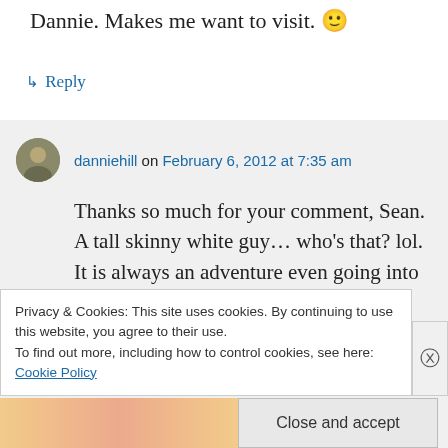Dannie. Makes me want to visit. 🙂
↳ Reply
danniehill on February 6, 2012 at 7:35 am
Thanks so much for your comment, Sean. A tall skinny white guy… who's that? lol. It is always an adventure even going into a store to buy things. The young lady pushes by her friends to assist me stands almost
Privacy & Cookies: This site uses cookies. By continuing to use this website, you agree to their use.
To find out more, including how to control cookies, see here: Cookie Policy
Close and accept